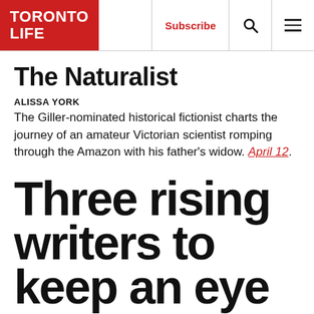TORONTO LIFE | Subscribe
The Naturalist
ALISSA YORK
The Giller-nominated historical fictionist charts the journey of an amateur Victorian scientist romping through the Amazon with his father's widow. April 12.
Three rising writers to keep an eye on